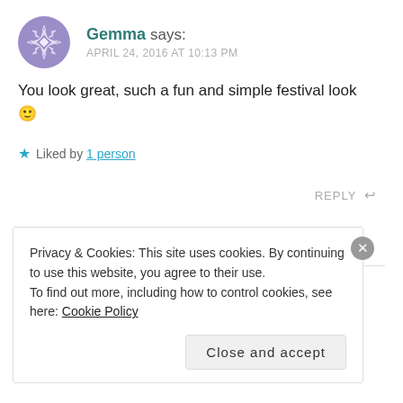[Figure (illustration): Purple geometric avatar icon — circular with snowflake/star pattern]
Gemma says: APRIL 24, 2016 AT 10:13 PM
You look great, such a fun and simple festival look 🙂
★ Liked by 1 person
REPLY ↩
Privacy & Cookies: This site uses cookies. By continuing to use this website, you agree to their use.
To find out more, including how to control cookies, see here: Cookie Policy
Close and accept